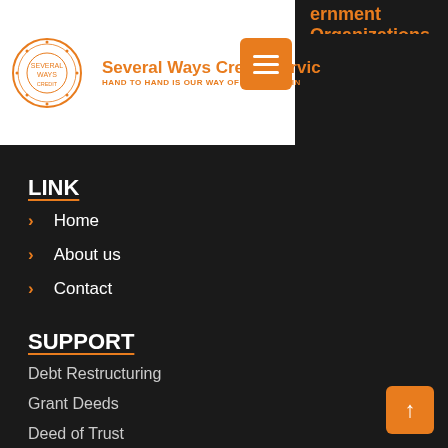[Figure (logo): Several Ways Credit Services logo with circular emblem and orange text. Tagline: HAND TO HAND IS OUR WAY OF DOING BUSINESS]
ernment Organizations,
LINK
Home
About us
Contact
SUPPORT
Debt Restructuring
Grant Deeds
Deed of Trust
Credit Repair
Loan Modification